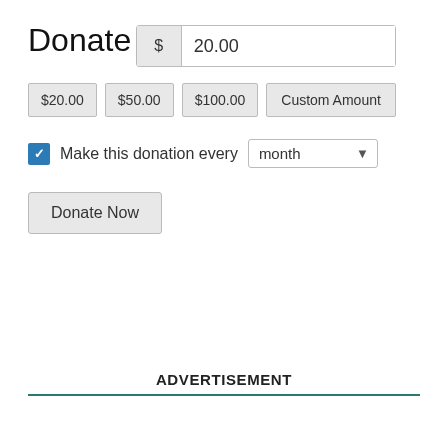Donate
$ 20.00
$20.00  $50.00  $100.00  Custom Amount
Make this donation every month
Donate Now
ADVERTISEMENT